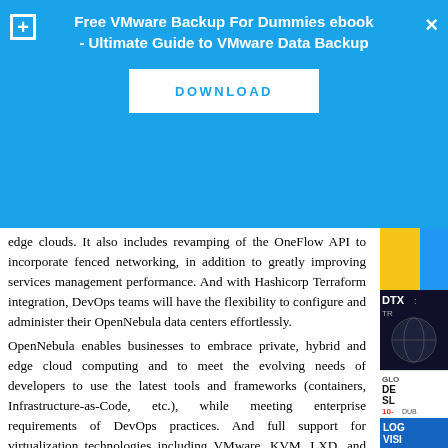[Figure (screenshot): Blue promotional banner for 'Free VMware Backup For Dummies ebook - Ultimate Guide to VMware Data Backup' with a DOWNLOAD button, plus icon on left and X close icon on right.]
edge clouds. It also includes revamping of the OneFlow API to incorporate fenced networking, in addition to greatly improving services management performance. And with Hashicorp Terraform integration, DevOps teams will have the flexibility to configure and administer their OpenNebula data centers effortlessly.
OpenNebula enables businesses to embrace private, hybrid and edge cloud computing and to meet the evolving needs of developers to use the latest tools and frameworks (containers, Infrastructure-as-Code, etc.), while meeting enterprise requirements of DevOps practices. And full support for virtualization technologies including VMware, KVM, LXD, and Firecracker makes OpenNebula the top-choice open source solution for building elastic cloud infrastructures